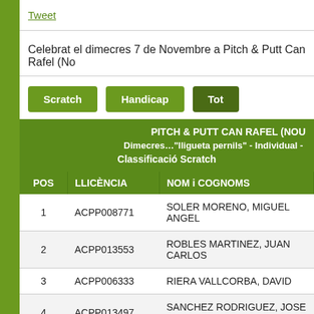Tweet
Celebrat el dimecres 7 de Novembre a Pitch & Putt Can Rafel (No
Scratch
Handicap
Tot
| POS | LLICÈNCIA | NOM i COGNOMS |
| --- | --- | --- |
| 1 | ACPP008771 | SOLER MORENO, MIGUEL ANGEL |
| 2 | ACPP013553 | ROBLES MARTINEZ, JUAN CARLOS |
| 3 | ACPP006333 | RIERA VALLCORBA, DAVID |
| 4 | ACPP013497 | SANCHEZ RODRIGUEZ, JOSE MANUEL |